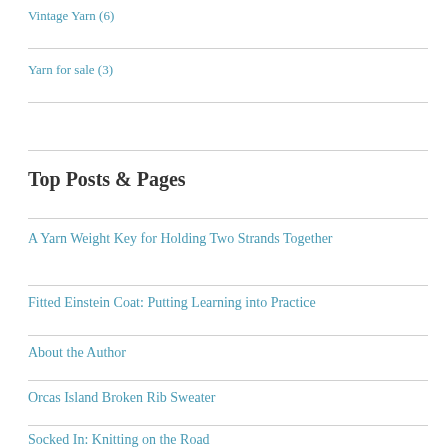Vintage Yarn (6)
Yarn for sale (3)
Top Posts & Pages
A Yarn Weight Key for Holding Two Strands Together
Fitted Einstein Coat: Putting Learning into Practice
About the Author
Orcas Island Broken Rib Sweater
Socked In: Knitting on the Road